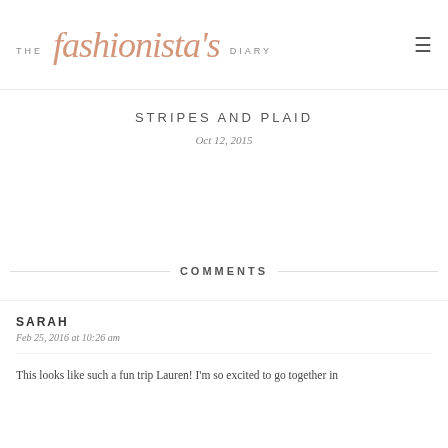THE fashionista's DIARY
STRIPES AND PLAID
Oct 12, 2015
COMMENTS
SARAH
Feb 25, 2016 at 10:26 am

This looks like such a fun trip Lauren! I'm so excited to go together in